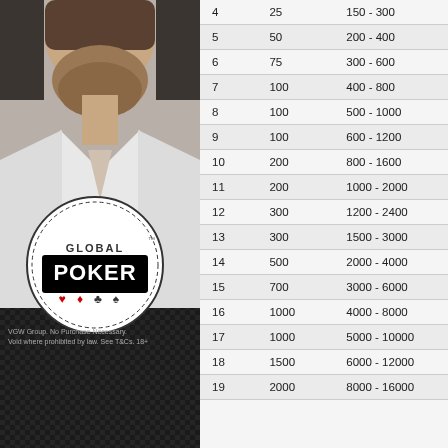[Figure (photo): Man in white shirt, Global Poker logo overlay, dark checkered background below]
| Level | Ante | Blinds |
| --- | --- | --- |
| 4 | 25 | 150 - 300 |
| 5 | 50 | 200 - 400 |
| 6 | 75 | 300 - 600 |
| 7 | 100 | 400 - 800 |
| 8 | 100 | 500 - 1000 |
| 9 | 100 | 600 - 1200 |
| 10 | 200 | 800 - 1600 |
| 11 | 200 | 1000 - 2000 |
| 12 | 300 | 1200 - 2400 |
| 13 | 300 | 1500 - 3000 |
| 14 | 500 | 2000 - 4000 |
| 15 | 700 | 3000 - 6000 |
| 16 | 1000 | 4000 - 8000 |
| 17 | 1000 | 5000 - 10000 |
| 18 | 1500 | 6000 - 12000 |
| 19 | 2000 | 8000 - 16000 |
VGW Group. No Purchase Necessary. Void where prohibited by law. See T&Cs. 18+